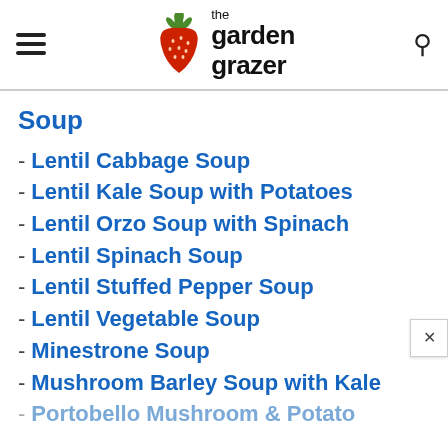the garden grazer
Soup
Lentil Cabbage Soup
Lentil Kale Soup with Potatoes
Lentil Orzo Soup with Spinach
Lentil Spinach Soup
Lentil Stuffed Pepper Soup
Lentil Vegetable Soup
Minestrone Soup
Mushroom Barley Soup with Kale
Portobello Mushroom & Potato